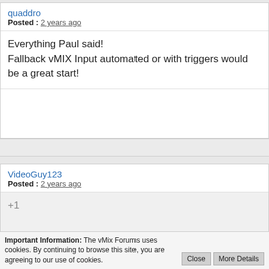quaddro
Posted : 2 years ago
Everything Paul said!
Fallback vMIX Input automated or with triggers would be a great start!
VideoGuy123
Posted : 2 years ago
+1
Important Information: The vMix Forums uses cookies. By continuing to browse this site, you are agreeing to our use of cookies.